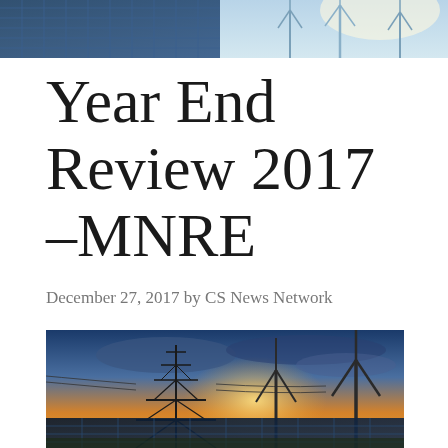[Figure (photo): Top banner photo showing solar panels and wind turbines against a bright sky]
Year End Review 2017 – MNRE
December 27, 2017 by CS News Network
[Figure (photo): Large photo showing an electricity transmission tower/pylon alongside wind turbines and solar panels at sunset with dramatic orange and blue sky]